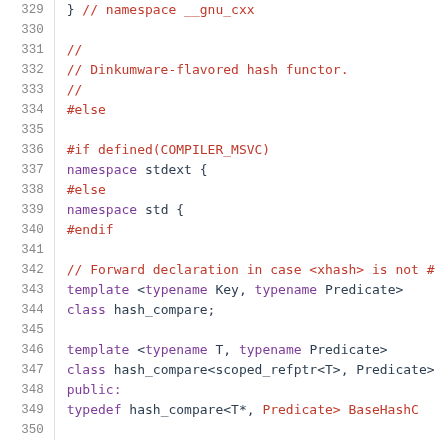[Figure (screenshot): Source code viewer showing C++ code lines 329–350 with line numbers on the left and syntax-highlighted code on the right. Comments in red, keywords/preprocessor in red/purple, identifiers in dark blue/navy.]